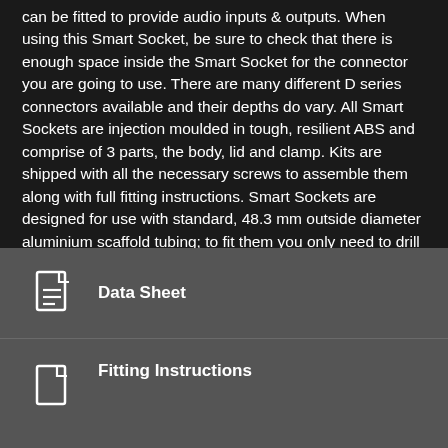can be fitted to provide audio inputs & outputs. When using this Smart Socket, be sure to check that there is enough space inside the Smart Socket for the connector you are going to use. There are many different D series connectors available and their depths do vary. All Smart Sockets are injection moulded in tough, resilient ABS and comprise of 3 parts, the body, lid and clamp. Kits are shipped with all the necessary screws to assemble them along with full fitting instructions. Smart Sockets are designed for use with standard, 48.3 mm outside diameter aluminium scaffold tubing; to fit them you only need to drill a single 16 mm hole in one wall of the tube. Then, simply press the Smart Socket into place and tighten the 2 self tapping screws; you can then install the wiring for your lighting bar.
Data Sheet
Fitting Instructions